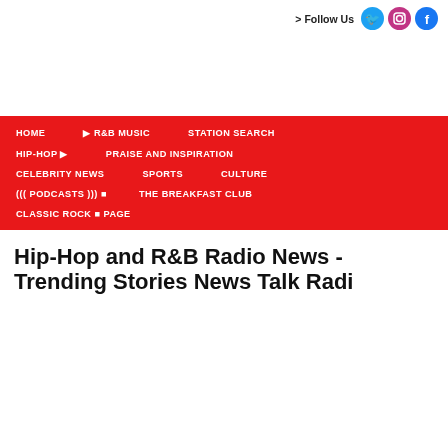> Follow Us [Twitter] [Instagram] [Facebook]
[Figure (screenshot): Navigation menu on red background with links: HOME, R&B MUSIC, STATION SEARCH, HIP-HOP, PRAISE AND INSPIRATION, CELEBRITY NEWS, SPORTS, CULTURE, ((( PODCASTS ))), THE BREAKFAST CLUB, CLASSIC ROCK, PAGE]
Hip-Hop and R&B Radio News - Trending Stories News Talk Radio